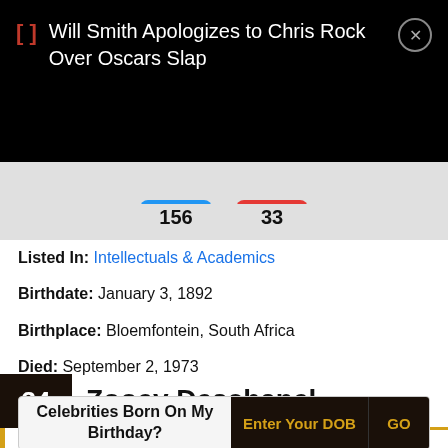Will Smith Apologizes to Chris Rock Over Oscars Slap
156   33
Listed In: Intellectuals & Academics
Birthdate: January 3, 1892
Birthplace: Bloemfontein, South Africa
Died: September 2, 1973
Height: 5'9" (175 cm)
34  Zooey Deschanel
Celebrities Born On My Birthday?  Enter Your DOB  GO